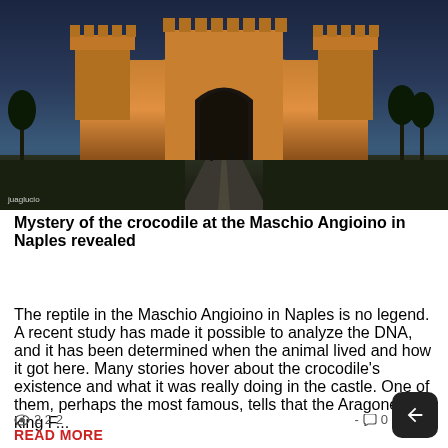[Figure (photo): Nighttime photo of Maschio Angioino castle in Naples, illuminated in golden/amber light against a blue twilight sky, with a road leading up to the entrance. Watermark 'juaglucio' visible at bottom left.]
Mystery of the crocodile at the Maschio Angioino in Naples revealed
The reptile in the Maschio Angioino in Naples is no legend. A recent study has made it possible to analyze the DNA, and it has been determined when the animal lived and how it got here. Many stories hover about the crocodile's existence and what it was really doing in the castle. One of them, perhaps the most famous, tells that the Aragonese king F...
👁 2 2 2
READ MORE